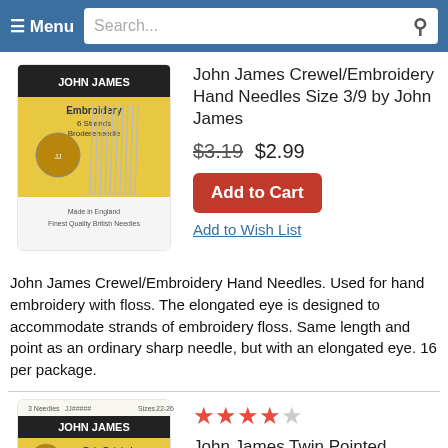Menu  Search...
[Figure (photo): John James Crewel/Embroidery Hand Needles package - yellow packaging with needles shown]
John James Crewel/Embroidery Hand Needles Size 3/9 by John James
$3.19 $2.99
Add to Cart
Add to Wish List
John James Crewel/Embroidery Hand Needles. Used for hand embroidery with floss. The elongated eye is designed to accommodate strands of embroidery floss. Same length and point as an ordinary sharp needle, but with an elongated eye. 16 per package.
[Figure (photo): John James Twin Pointed Quick Stitch Needles package]
John James Twin Pointed Needles, 22, 24, 26